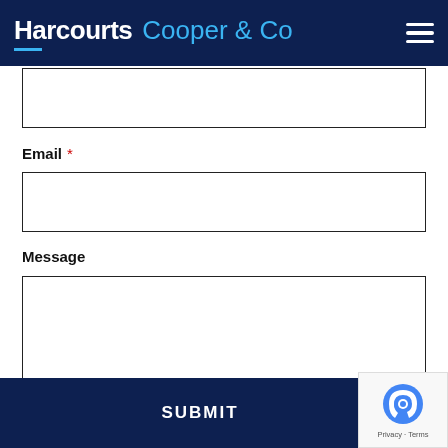Harcourts Cooper & Co
(text input field — top, partially visible)
Email *
(email input field)
Message
(message textarea)
SUBMIT